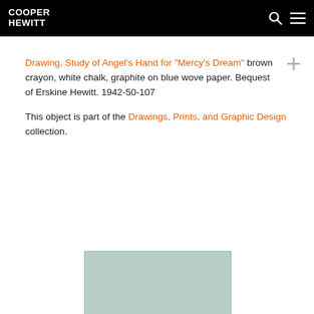COOPER HEWITT
Drawing, Study of Angel's Hand for "Mercy's Dream" brown crayon, white chalk, graphite on blue wove paper. Bequest of Erskine Hewitt. 1942-50-107
This object is part of the Drawings, Prints, and Graphic Design collection.
[Figure (photo): Partial view of a blue-grey wove paper artwork at bottom of page]